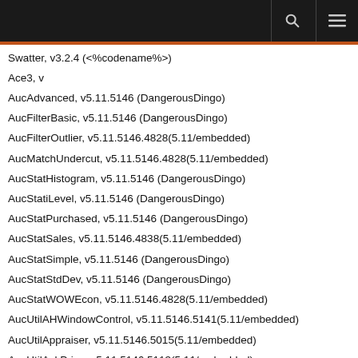Swatter, v3.2.4 (<%codename%>)
Ace3, v
AucAdvanced, v5.11.5146 (DangerousDingo)
AucFilterBasic, v5.11.5146 (DangerousDingo)
AucFilterOutlier, v5.11.5146.4828(5.11/embedded)
AucMatchUndercut, v5.11.5146.4828(5.11/embedded)
AucStatHistogram, v5.11.5146 (DangerousDingo)
AucStatiLevel, v5.11.5146 (DangerousDingo)
AucStatPurchased, v5.11.5146 (DangerousDingo)
AucStatSales, v5.11.5146.4838(5.11/embedded)
AucStatSimple, v5.11.5146 (DangerousDingo)
AucStatStdDev, v5.11.5146 (DangerousDingo)
AucStatWOWEcon, v5.11.5146.4828(5.11/embedded)
AucUtilAHWindowControl, v5.11.5146.5141(5.11/embedded)
AucUtilAppraiser, v5.11.5146.5015(5.11/embedded)
AucUtilAskPrice, v5.11.5146.5113(5.11/embedded)
AucUtilAutoMagic, v5.11.5146.5034(5.11/embedded)
AucUtilCompactUI, v5.11.5146.5016(5.11/embedded)
AucUtilEasyBuyout, v5.11.5146.4897(5.11/embedded)